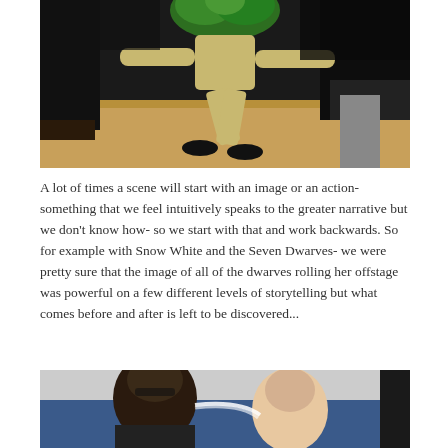[Figure (photo): Action scene photo showing people's legs and feet on a wooden floor, with one person dressed in theatrical costume with green hair/foliage, dynamic movement captured mid-action]
A lot of times a scene will start with an image or an action- something that we feel intuitively speaks to the greater narrative but we don't know how- so we start with that and work backwards. So for example with Snow White and the Seven Dwarves- we were pretty sure that the image of all of the dwarves rolling her offstage was powerful on a few different levels of storytelling but what comes before and after is left to be discovered...
[Figure (photo): Photo of two men, one Black man and one appearing to blow or exhale toward another person, against a blue wall background, partially cropped at bottom of page]